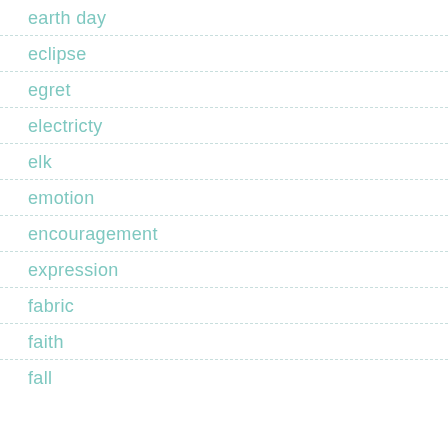earth day
eclipse
egret
electricty
elk
emotion
encouragement
expression
fabric
faith
fall